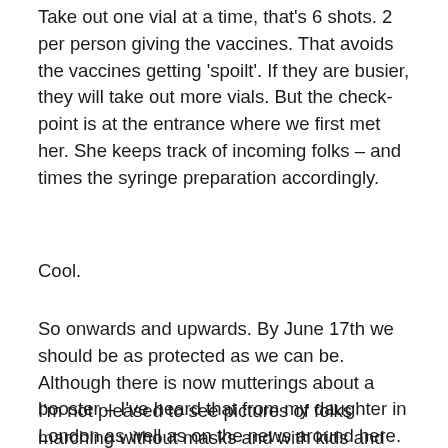Take out one vial at a time, that's 6 shots. 2 per person giving the vaccines. That avoids the vaccines getting 'spoilt'. If they are busier, they will take out more vials. But the check-point is at the entrance where we first met her. She keeps track of incoming folks – and times the syringe preparation accordingly.
Cool.
So onwards and upwards. By June 17th we should be as protected as we can be. Although there is now mutterings about a booster – I've heard that from my daughter in London as well as on the news around here. Wouldn't surprise me.
I'm not pleased to see pictures of folks marching without masks and with kids and no social distancing. I think they